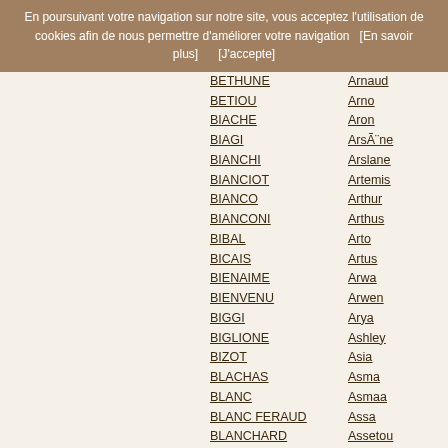En poursuivant votre navigation sur notre site, vous acceptez l'utilisation de cookies afin de nous permettre d'améliorer votre navigation   [En savoir plus]        [J'accepte]
BETHUNE
BETIOU
BIACHE
BIAGI
BIANCHI
BIANCIOT
BIANCO
BIANCONI
BIBAL
BICAIS
BIENAIME
BIENVENU
BIGGI
BIGLIONE
BIZOT
BLACHAS
BLANC
BLANC FERAUD
BLANCHARD
BLANCHET
BOEUF
BOIVIN
Arnaud
Arno
Aron
ArsÃ¨ne
Arslane
Artemis
Arthur
Arthus
Arto
Artus
Arwa
Arwen
Arya
Ashley
Asia
Asma
Asmaa
Assa
Assetou
Assia
Assil
Assiya